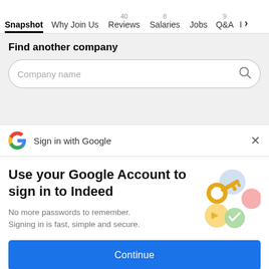Snapshot  Why Join Us  40 Reviews  8 Salaries  Jobs  9 Q&A  I >
Find another company
Company name
Sign in with Google
Use your Google Account to sign in to Indeed
No more passwords to remember. Signing in is fast, simple and secure.
[Figure (illustration): Colorful illustration of a golden key with circular colored elements (blue, yellow, green, red) suggesting Google account security]
Continue